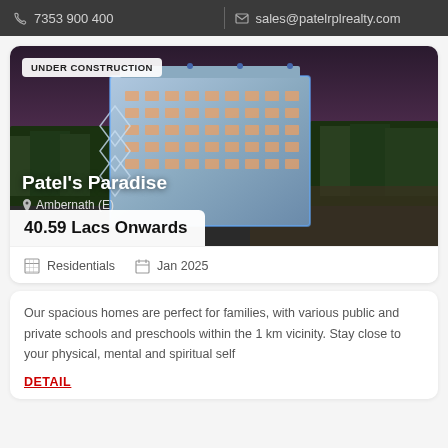7353 900 400  |  sales@patelrplrealty.com
[Figure (photo): Aerial view of Patel's Paradise residential high-rise building under construction, surrounded by trees, illuminated with blue/white lights at dusk]
Patel's Paradise
Ambernath (E)
40.59 Lacs Onwards
Residentials   Jan 2025
Our spacious homes are perfect for families, with various public and private schools and preschools within the 1 km vicinity. Stay close to your physical, mental and spiritual self
DETAIL